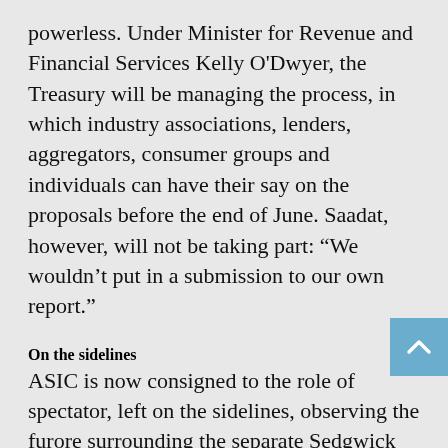powerless. Under Minister for Revenue and Financial Services Kelly O'Dwyer, the Treasury will be managing the process, in which industry associations, lenders, aggregators, consumer groups and individuals can have their say on the proposals before the end of June. Saadat, however, will not be taking part: “We wouldn’t put in a submission to our own report.”
On the sidelines
ASIC is now consigned to the role of spectator, left on the sidelines, observing the furore surrounding the separate Sedgwick review, which published its final report a few weeks after ASIC’s.
Stephen Sedgwick’s Australian Bankers Association-sponsored review ran concurrently